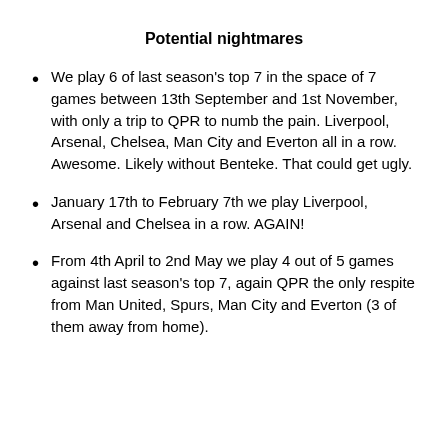Potential nightmares
We play 6 of last season's top 7 in the space of 7 games between 13th September and 1st November, with only a trip to QPR to numb the pain. Liverpool, Arsenal, Chelsea, Man City and Everton all in a row. Awesome. Likely without Benteke. That could get ugly.
January 17th to February 7th we play Liverpool, Arsenal and Chelsea in a row. AGAIN!
From 4th April to 2nd May we play 4 out of 5 games against last season's top 7, again QPR the only respite from Man United, Spurs, Man City and Everton (3 of them away from home).